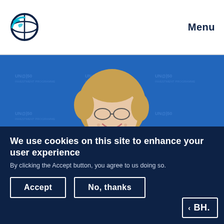Menu
[Figure (photo): Woman with curly blonde hair, glasses, wearing a blue blazer and pearl necklace, smiling, seated in front of a blue UN Investment Programme 50th anniversary branded backdrop.]
We use cookies on this site to enhance your user experience
By clicking the Accept button, you agree to us doing so.
Accept
No, thanks